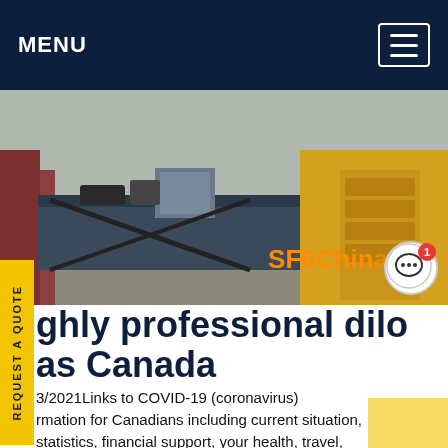MENU
[Figure (photo): Industrial equipment scene showing yellow machinery, a gray control unit, and storage drawers outdoors. SF6China label visible in orange.]
ghly professional dilo as Canada
3/2021Links to COVID-19 (coronavirus) rmation for Canadians including current situation, statistics, financial support, your health, travel, immigration, safety and awareness resources. Digital tools COVID-19 applications and interactive tools to